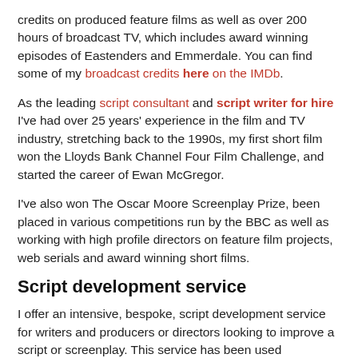credits on produced feature films as well as over 200 hours of broadcast TV, which includes award winning episodes of Eastenders and Emmerdale. You can find some of my broadcast credits here on the IMDb.
As the leading script consultant and script writer for hire I've had over 25 years' experience in the film and TV industry, stretching back to the 1990s, my first short film won the Lloyds Bank Channel Four Film Challenge, and started the career of Ewan McGregor.
I've also won The Oscar Moore Screenplay Prize, been placed in various competitions run by the BBC as well as working with high profile directors on feature film projects, web serials and award winning short films.
Script development service
I offer an intensive, bespoke, script development service for writers and producers or directors looking to improve a script or screenplay. This service has been used extensively by